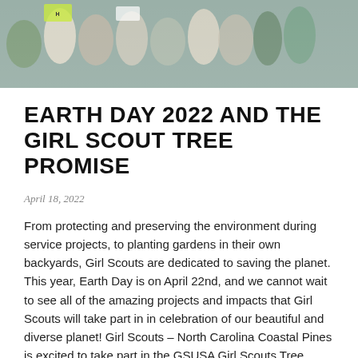[Figure (photo): Banner photo of diverse group of young women cheering and holding signs at a rally, with a Girl Scouts Tree Promise badge/logo visible in the upper right corner.]
EARTH DAY 2022 AND THE GIRL SCOUT TREE PROMISE
April 18, 2022
From protecting and preserving the environment during service projects, to planting gardens in their own backyards, Girl Scouts are dedicated to saving the planet. This year, Earth Day is on April 22nd, and we cannot wait to see all of the amazing projects and impacts that Girl Scouts will take part in in celebration of our beautiful and diverse planet! Girl Scouts – North Carolina Coastal Pines is excited to take part in the GSUSA Girl Scouts Tree Promise program, setting out to plant 5 million trees by 2026 and to